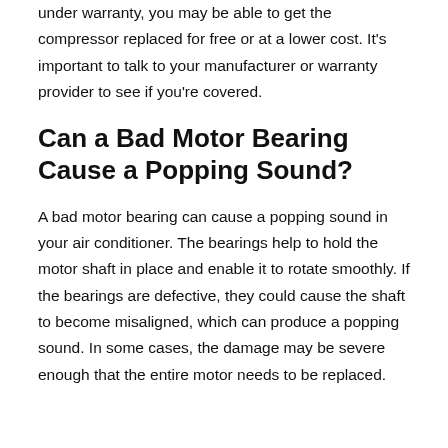under warranty, you may be able to get the compressor replaced for free or at a lower cost. It's important to talk to your manufacturer or warranty provider to see if you're covered.
Can a Bad Motor Bearing Cause a Popping Sound?
A bad motor bearing can cause a popping sound in your air conditioner. The bearings help to hold the motor shaft in place and enable it to rotate smoothly. If the bearings are defective, they could cause the shaft to become misaligned, which can produce a popping sound. In some cases, the damage may be severe enough that the entire motor needs to be replaced.